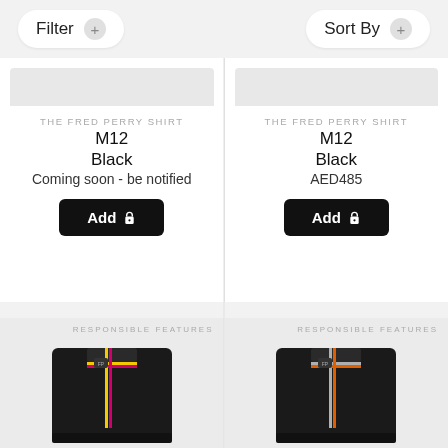Filter   Sort By
THE FRED PERRY SHIRT
M12
Black
Coming soon - be notified
Add
THE FRED PERRY SHIRT
M12
Black
AED485
Add
[Figure (photo): Black Fred Perry polo shirt with yellow and pink/magenta tipped collar and cuffs, folded]
RESPONSIBLE FEATURES
[Figure (photo): Black Fred Perry polo shirt with orange and white/grey tipped collar and cuffs, folded]
RESPONSIBLE FEATURES